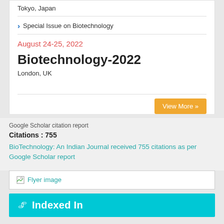Tokyo, Japan
Special Issue on Biotechnology
August 24-25, 2022
Biotechnology-2022
London, UK
View More »
Google Scholar citation report
Citations : 755
BioTechnology: An Indian Journal received 755 citations as per Google Scholar report
[Figure (other): Flyer image placeholder with broken image icon and text 'Flyer image']
Indexed In